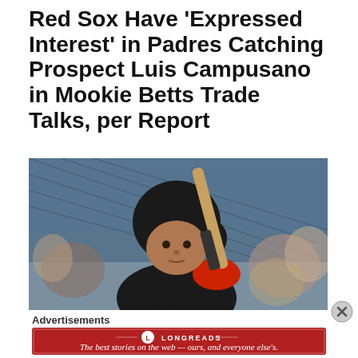Red Sox Have 'Expressed Interest' in Padres Catching Prospect Luis Campusano in Mookie Betts Trade Talks, per Report
[Figure (photo): Baseball player in black helmet and red batting gloves holding a bat in batting stance, wearing a black jersey with red elbow guard, at a stadium with blurred crowd in background.]
Advertisements
[Figure (other): Longreads advertisement banner on red background. Logo circle with 'L', brand name LONGREADS, tagline: The best stories on the web — ours, and everyone else's.]